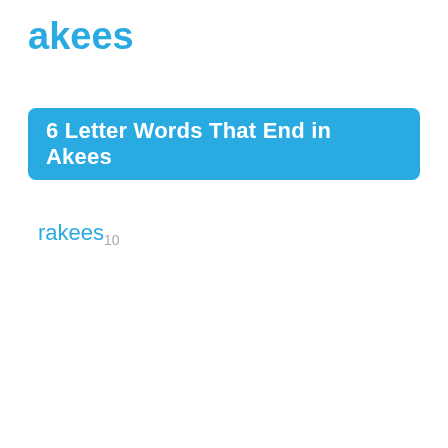akees
6 Letter Words That End in Akees
rakees 10